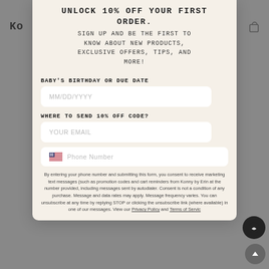UNLOCK 10% OFF YOUR FIRST ORDER.
SIGN UP AND BE THE FIRST TO KNOW ABOUT NEW PRODUCTS, EXCLUSIVE OFFERS, TIPS, AND MORE!
BABY'S BIRTHDAY OR DUE DATE
MM/DD/YYYY
WHERE TO SEND 10% OFF CODE?
YOUR EMAIL
Phone Number
By entering your phone number and submitting this form, you consent to receive marketing text messages (such as promotion codes and cart reminders from Konny by Erin at the number provided, including messages sent by autodialer. Consent is not a condition of any purchase. Message and data rates may apply. Message frequency varies. You can unsubscribe at any time by replying STOP or clicking the unsubscribe link (where available) in one of our messages. View our Privacy Policy and Terms of Servic